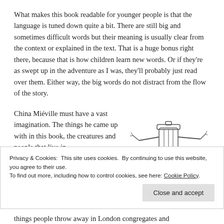What makes this book readable for younger people is that the language is tuned down quite a bit. There are still big and sometimes difficult words but their meaning is usually clear from the context or explained in the text. That is a huge bonus right there, because that is how children learn new words. Or if they're as swept up in the adventure as I was, they'll probably just read over them. Either way, the big words do not distract from the flow of the story.
China Miéville must have a vast imagination. The things he came up with in this book, the creatures and people that live in
[Figure (illustration): Pencil sketch illustration of an animated trash can with arms and legs outstretched, appearing to dance or jump]
things people throw away in London congregates and
Privacy & Cookies: This site uses cookies. By continuing to use this website, you agree to their use.
To find out more, including how to control cookies, see here: Cookie Policy